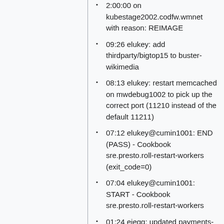2:00:00 on kubestage2002.codfw.wmnet with reason: REIMAGE
09:26 elukey: add thirdparty/bigtop15 to buster-wikimedia
08:13 elukey: restart memcached on mwdebug1002 to pick up the correct port (11210 instead of the default 11211)
07:12 elukey@cumin1001: END (PASS) - Cookbook sre.presto.roll-restart-workers (exit_code=0)
07:04 elukey@cumin1001: START - Cookbook sre.presto.roll-restart-workers
01:24 ejegg: updated payments-wiki from df80a99b40 to 63ae7413a8
2020-12-10